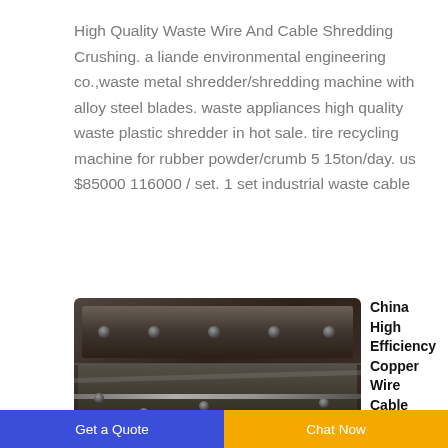High Quality Waste Wire And Cable Shredding Crushing. a liande environmental engineering co.,waste metal shredder/shredding machine with alloy steel blades. waste appliances high quality waste plastic shredder in hot sale. tire recycling machine for rubber powder/crumb 5 15ton/day. us $85000 116000 / set. 1 set industrial waste cable
[Figure (photo): Industrial machinery photo showing metal shredder/granulator blades and cutting components, dark metallic equipment with bolts visible]
China High Efficiency Copper Wire Cable Granulator for
Copper
Get a Quote
Chat Now